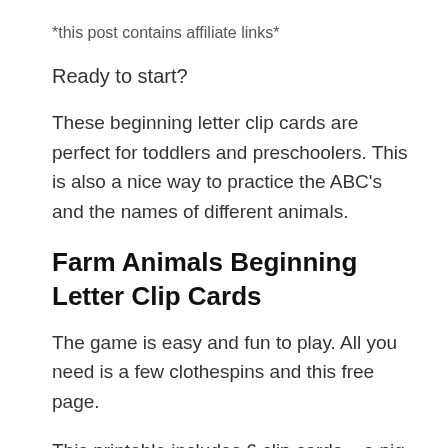*this post contains affiliate links*
Ready to start?
These beginning letter clip cards are perfect for toddlers and preschoolers. This is also a nice way to practice the ABC's and the names of different animals.
Farm Animals Beginning Letter Clip Cards
The game is easy and fun to play. All you need is a few clothespins and this free page.
This printable includes 6 clip cards – a pig, a duck, a horse, a cow, a goat and a hen.
The goal is to practice the names of the 6 common animals that live on the farm. Use your